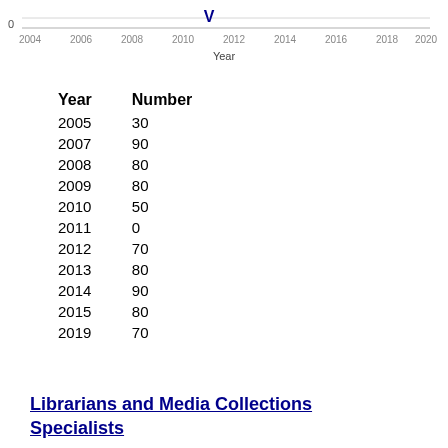[Figure (line-chart): ]
| Year | Number |
| --- | --- |
| 2005 | 30 |
| 2007 | 90 |
| 2008 | 80 |
| 2009 | 80 |
| 2010 | 50 |
| 2011 | 0 |
| 2012 | 70 |
| 2013 | 80 |
| 2014 | 90 |
| 2015 | 80 |
| 2019 | 70 |
Librarians and Media Collections Specialists